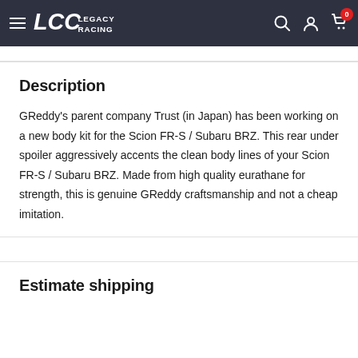Legacy Racing — navigation header with logo, search, account, and cart icons
Description
GReddy's parent company Trust (in Japan) has been working on a new body kit for the Scion FR-S / Subaru BRZ. This rear under spoiler aggressively accents the clean body lines of your Scion FR-S / Subaru BRZ. Made from high quality eurathane for strength, this is genuine GReddy craftsmanship and not a cheap imitation.
Estimate shipping